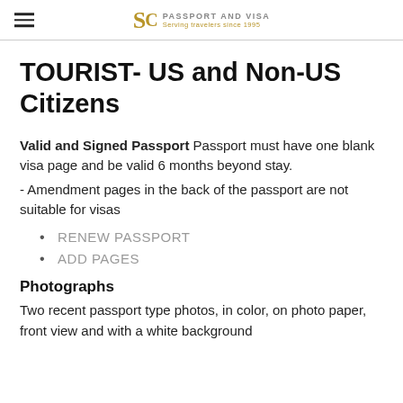SC PASSPORT AND VISA — Serving travelers since 1995
TOURIST- US and Non-US Citizens
Valid and Signed Passport Passport must have one blank visa page and be valid 6 months beyond stay. - Amendment pages in the back of the passport are not suitable for visas
RENEW PASSPORT
ADD PAGES
Photographs
Two recent passport type photos, in color, on photo paper, front view and with a white background